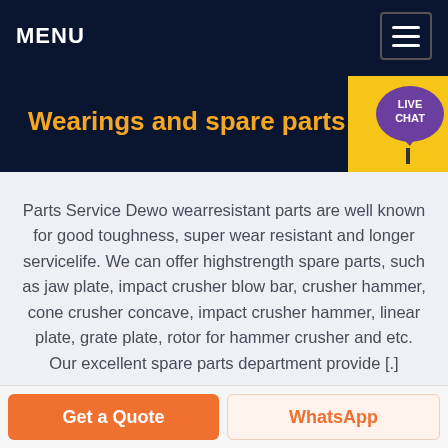MENU
Wearings and spare parts
Parts Service Dewo wearresistant parts are well known for good toughness, super wear resistant and longer servicelife. We can offer highstrength spare parts, such as jaw plate, impact crusher blow bar, crusher hammer, cone crusher concave, impact crusher hammer, linear plate, grate plate, rotor for hammer crusher and etc. Our excellent spare parts department provide [.]
Get a Quote | WhatsApp